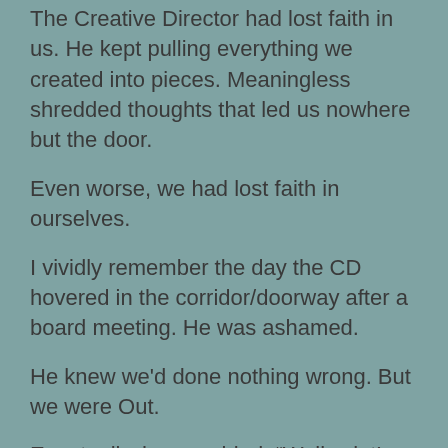The Creative Director had lost faith in us. He kept pulling everything we created into pieces. Meaningless shredded thoughts that led us nowhere but the door.
Even worse, we had lost faith in ourselves.
I vividly remember the day the CD hovered in the corridor/doorway after a board meeting. He was ashamed.
He knew we'd done nothing wrong. But we were Out.
Eventually, he mumbled, “Well… let’s call this your last week then.”